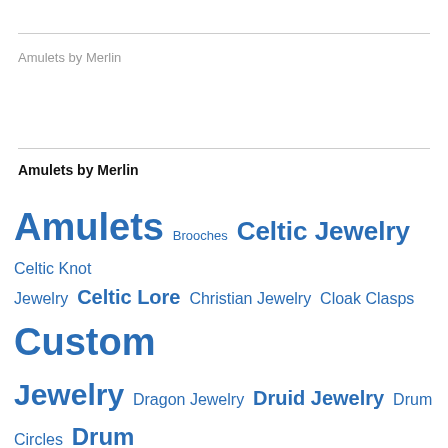Amulets by Merlin
Amulets by Merlin
Amulets Brooches Celtic Jewelry Celtic Knot Jewelry Celtic Lore Christian Jewelry Cloak Clasps Custom Jewelry Dragon Jewelry Druid Jewelry Drum Circles Drum Jewelry Earrings Greek Mythology Jewelry Humor Jewelry design Money Clips Moon Jewelry Multi Faith music amulet Music Jewelry music pendant nature Jewelry Pagan Jewelry